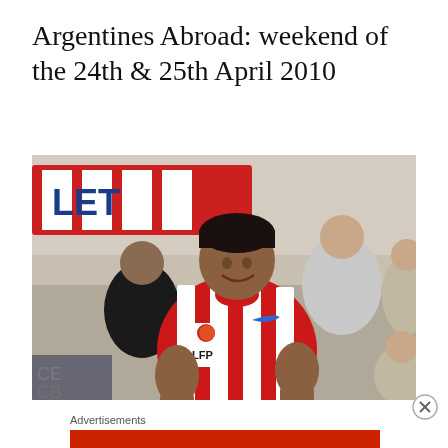Argentines Abroad: weekend of the 24th & 25th April 2010
[Figure (photo): Argentine footballer wearing a red-and-white striped Atletico Madrid LFP jersey, celebrating with fists clenched, surrounded by fans holding scarves in the background]
Advertisements